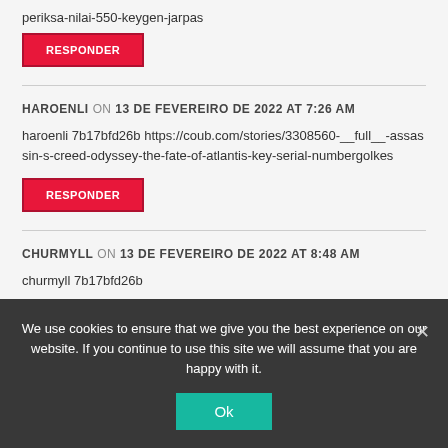periksa-nilai-550-keygen-jarpas
RESPONDER
HAROENLI  ON  13 DE FEVEREIRO DE 2022 AT 7:26 AM
haroenli 7b17bfd26b https://coub.com/stories/3308560-__full__-assassin-s-creed-odyssey-the-fate-of-atlantis-key-serial-numbergolkes
RESPONDER
CHURMYLL  ON  13 DE FEVEREIRO DE 2022 AT 8:48 AM
churmyll 7b17bfd26b
We use cookies to ensure that we give you the best experience on our website. If you continue to use this site we will assume that you are happy with it.
Ok